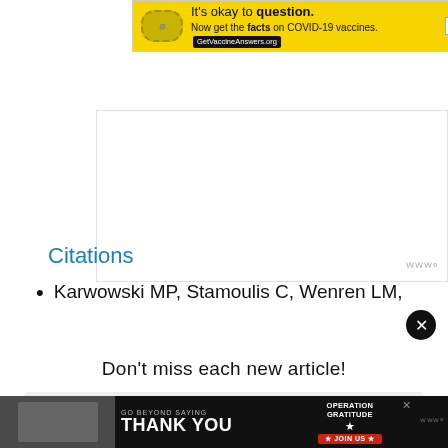[Figure (screenshot): Yellow advertisement banner: 'It's okay to question. Now get the facts on COVID-19 vaccines. GetVaccineAnswers.org' with a bandage icon and close button.]
[Figure (screenshot): Large white/gray advertisement block area with Wordmark logo watermark at bottom right.]
Citations
Karwowski MP, Stamoulis C, Wenren LM,
Don't miss each new article!
[Figure (screenshot): Email address input field placeholder text.]
[Figure (screenshot): Bottom black advertisement bar: 'GO BEYOND SAYING THANK YOU' with Operation Gratitude logo and JOIN US button.]